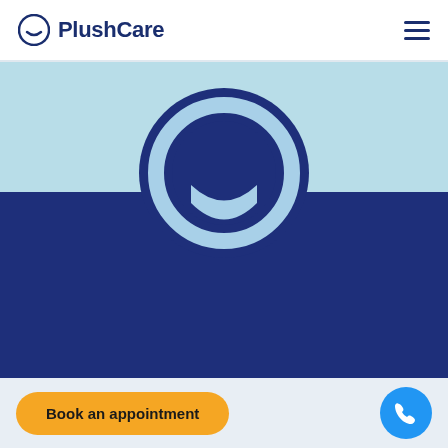[Figure (logo): PlushCare logo with smiley face icon and wordmark in dark navy blue]
[Figure (illustration): Large PlushCare smiley face circle logo centered on dark navy blue background over light blue hero area]
Get to know us
How PlushCare Works
Membership
[Figure (other): Book an appointment button (yellow/orange) and phone call button (blue circle)]